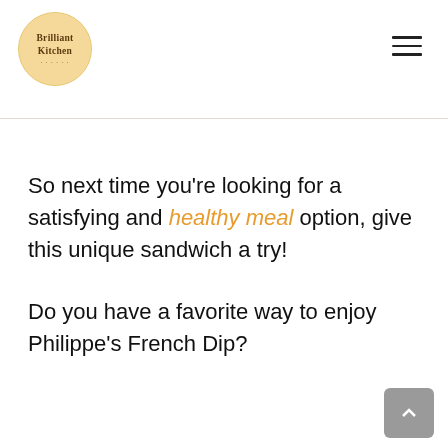Brilliant Kitchen
So next time you’re looking for a satisfying and healthy meal option, give this unique sandwich a try!
Do you have a favorite way to enjoy Philippe’s French Dip?